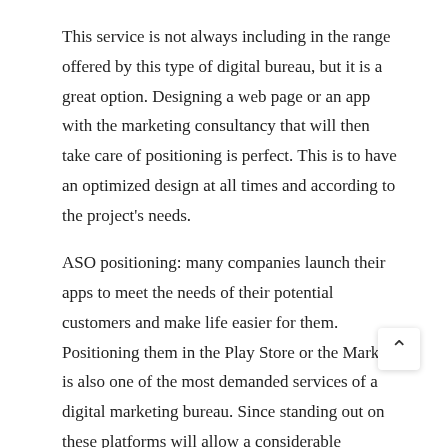This service is not always including in the range offered by this type of digital bureau, but it is a great option. Designing a web page or an app with the marketing consultancy that will then take care of positioning is perfect. This is to have an optimized design at all times and according to the project's needs.
ASO positioning: many companies launch their apps to meet the needs of their potential customers and make life easier for them. Positioning them in the Play Store or the Market is also one of the most demanded services of a digital marketing bureau. Since standing out on these platforms will allow a considerable increase in the number of downloads.
The Dissimilarity between Advertising Bureau and Digital Marketing Bureau